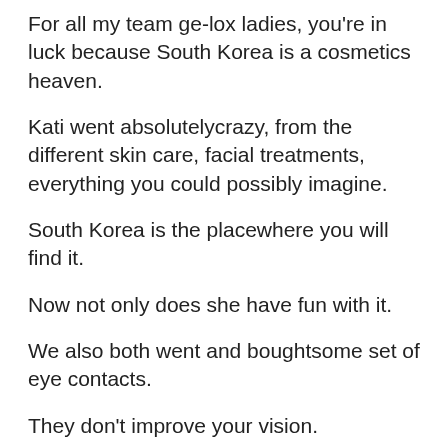For all my team ge-lox ladies, you're in luck because South Korea is a cosmetics heaven.
Kati went absolutelycrazy, from the different skin care, facial treatments, everything you could possibly imagine.
South Korea is the placewhere you will find it.
Now not only does she have fun with it.
We also both went and boughtsome set of eye contacts.
They don't improve your vision.
But they do change your eye color.
They change the size of your pupil.